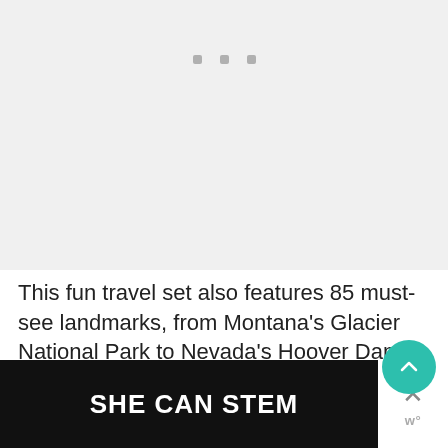[Figure (other): Large gray placeholder image area at top of page with three small square dots/icons near the top center]
This fun travel set also features 85 must-see landmarks, from Montana's Glacier National Park to Nevada's Hoover Dam. It also includes 15 fun adventures, like stargazing the milky way, white water rafting...
[Figure (other): SHE CAN STEM advertisement banner at the bottom with dark background and white bold text, plus a close (X) button and brand mark on the right side]